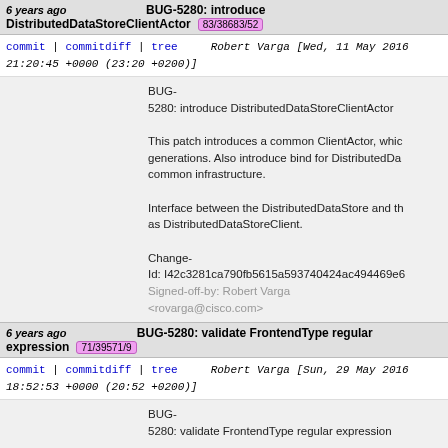6 years ago BUG-5280: introduce DistributedDataStoreClientActor 83/38683/52
commit | commitdiff | tree   Robert Varga [Wed, 11 May 2016 21:20:45 +0000 (23:20 +0200)]
BUG-5280: introduce DistributedDataStoreClientActor

This patch introduces a common ClientActor, which generations. Also introduce bind for DistributedDa common infrastructure.

Interface between the DistributedDataStore and th as DistributedDataStoreClient.

Change-Id: I42c3281ca790fb5615a593740424ac494469e6 Signed-off-by: Robert Varga <rovarga@cisco.com>
6 years ago BUG-5280: validate FrontendType regular expression 71/39571/9
commit | commitdiff | tree   Robert Varga [Sun, 29 May 2016 18:52:53 +0000 (20:52 +0200)]
BUG-5280: validate FrontendType regular expression

Isolate the regular expresison to a constant so it c